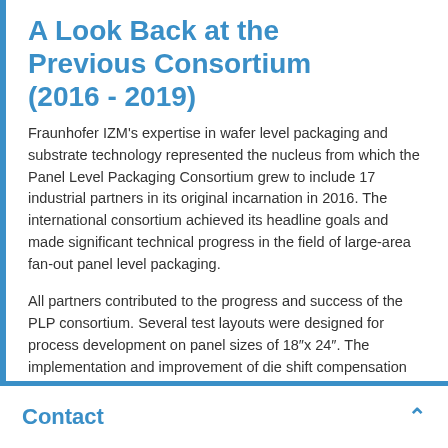A Look Back at the Previous Consortium (2016 - 2019)
Fraunhofer IZM's expertise in wafer level packaging and substrate technology represented the nucleus from which the Panel Level Packaging Consortium grew to include 17 industrial partners in its original incarnation in 2016. The international consortium achieved its headline goals and made significant technical progress in the field of large-area fan-out panel level packaging.
All partners contributed to the progress and success of the PLP consortium. Several test layouts were designed for process development on panel sizes of 18"x 24". The implementation and improvement of die shift compensation and the sensitivity and reduction of
Contact